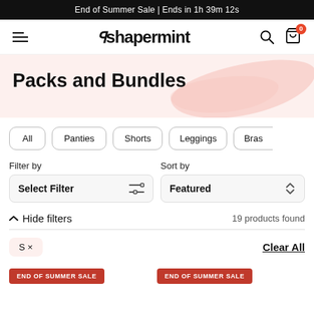End of Summer Sale | Ends in 1h 39m 12s
[Figure (logo): Shapermint logo with hamburger menu, search icon, and shopping bag icon with badge 0]
Packs and Bundles
All
Panties
Shorts
Leggings
Bras
Filter by
Select Filter
Sort by
Featured
^ Hide filters
19 products found
S ×
Clear All
END OF SUMMER SALE
END OF SUMMER SALE